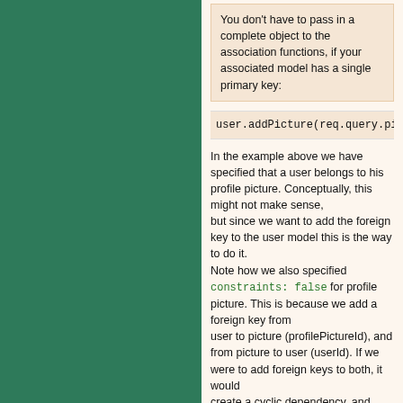You don't have to pass in a complete object to the association functions, if your associated model has a single primary key:
user.addPicture(req.query.pi
In the example above we have specified that a user belongs to his profile picture. Conceptually, this might not make sense, but since we want to add the foreign key to the user model this is the way to do it.
Note how we also specified constraints: false for profile picture. This is because we add a foreign key from user to picture (profilePictureId), and from picture to user (userId). If we were to add foreign keys to both, it would create a cyclic dependency, and sequelize would not know which table to create first, since user depends on picture, and picture depends on user. These kinds of problems are detected by sequelize